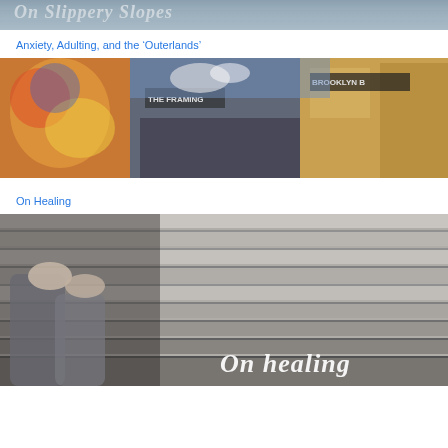[Figure (photo): Partial top image showing italic white text 'On Slippery Slopes' over a mountain/landscape photo]
Anxiety, Adulting, and the 'Outerlands'
[Figure (photo): Street photo of Brooklyn with colorful murals on left and brick buildings including 'The Framing' and 'Brooklyn B...' signage on right]
On Healing
[Figure (photo): Black and white photo of person in jeans sitting on wooden planks/boardwalk with text 'On healing' in white italic script at bottom right]